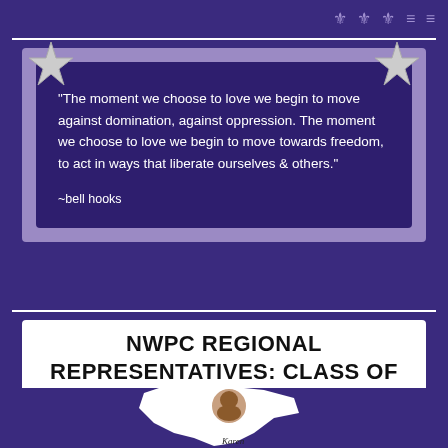"The moment we choose to love we begin to move against domination, against oppression. The moment we choose to love we begin to move towards freedom, to act in ways that liberate ourselves & others." ~bell hooks
NWPC REGIONAL REPRESENTATIVES: CLASS OF 2022
[Figure (illustration): White silhouette shape of the state of Virginia with a circular photo of a woman (Karen) overlaid on top, with her name written in cursive below]